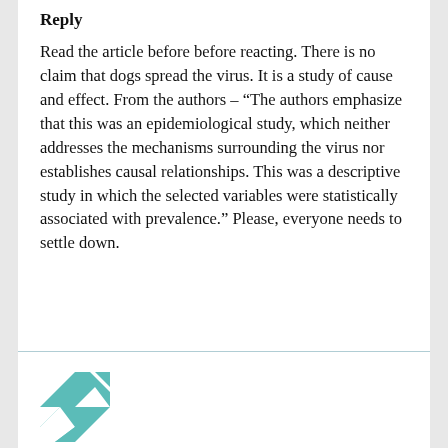Reply
Read the article before before reacting. There is no claim that dogs spread the virus. It is a study of cause and effect. From the authors – “The authors emphasize that this was an epidemiological study, which neither addresses the mechanisms surrounding the virus nor establishes causal relationships. This was a descriptive study in which the selected variables were statistically associated with prevalence.” Please, everyone needs to settle down.
[Figure (logo): Teal and white geometric/triangular pattern avatar icon]